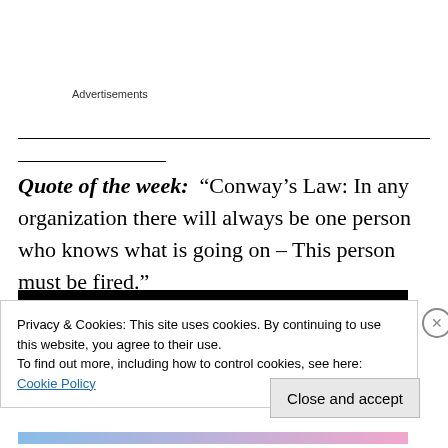Advertisements
Quote of the week: “Conway’s Law: In any organization there will always be one person who knows what is going on – This person must be fired.”
[Figure (other): Black banner strip with white bold italic text partially visible: 'You've got questions. I've got answers.']
Privacy & Cookies: This site uses cookies. By continuing to use this website, you agree to their use.
To find out more, including how to control cookies, see here: Cookie Policy
Close and accept